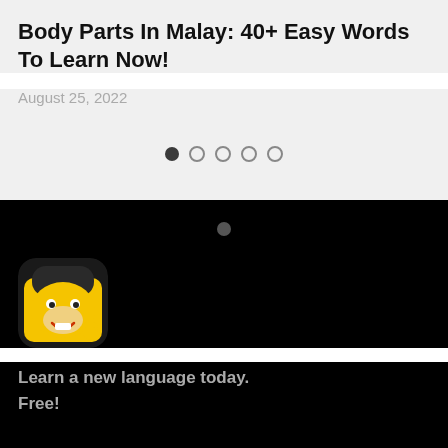Body Parts In Malay: 40+ Easy Words To Learn Now!
August 25, 2022
[Figure (infographic): Pagination dots: one filled dark circle followed by four empty circle outlines, indicating a carousel slide indicator]
[Figure (infographic): Dark background section with pagination dots and a language learning app icon (cartoon monkey character with yellow background and rounded square shape)]
Learn a new language today.
Free!
Ling...